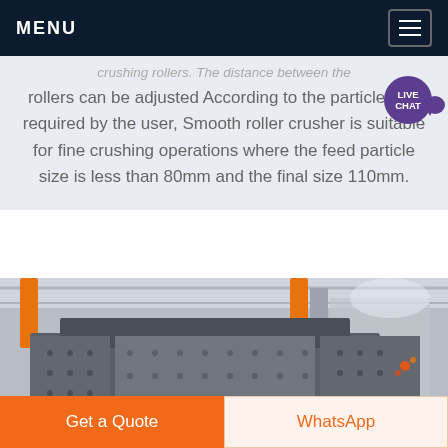MENU
crushing rollers. The distance between the rollers can be adjusted According to the particle size required by the user, Smooth roller crusher is suitable for fine crushing operations where the feed particle size is less than 80mm and the final size 110mm.
[Figure (photo): Industrial machinery photo showing a large heavy-duty metal crushing or screening machine being assembled in a factory/warehouse setting, with orange crane arms visible above.]
Get a Quote
WhatsApp